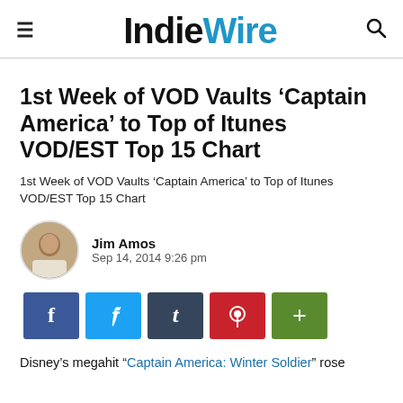IndieWire
1st Week of VOD Vaults ‘Captain America’ to Top of Itunes VOD/EST Top 15 Chart
1st Week of VOD Vaults ‘Captain America’ to Top of Itunes VOD/EST Top 15 Chart
Jim Amos
Sep 14, 2014 9:26 pm
[Figure (infographic): Social sharing buttons: Facebook (blue), Twitter (light blue), Tumblr (dark blue), Pinterest (red), More (green)]
Disney’s megahit “Captain America: Winter Soldier” rose